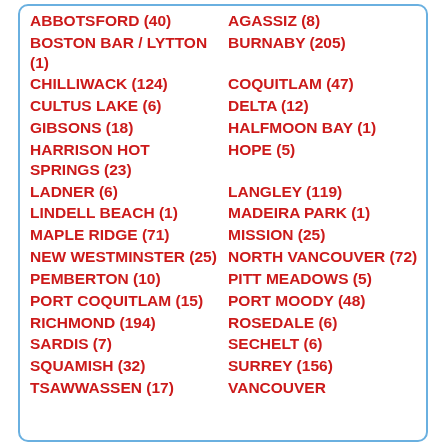ABBOTSFORD (40)
AGASSIZ (8)
BOSTON BAR / LYTTON (1)
BURNABY (205)
CHILLIWACK (124)
COQUITLAM (47)
CULTUS LAKE (6)
DELTA (12)
GIBSONS (18)
HALFMOON BAY (1)
HARRISON HOT SPRINGS (23)
HOPE (5)
LADNER (6)
LANGLEY (119)
LINDELL BEACH (1)
MADEIRA PARK (1)
MAPLE RIDGE (71)
MISSION (25)
NEW WESTMINSTER (25)
NORTH VANCOUVER (72)
PEMBERTON (10)
PITT MEADOWS (5)
PORT COQUITLAM (15)
PORT MOODY (48)
RICHMOND (194)
ROSEDALE (6)
SARDIS (7)
SECHELT (6)
SQUAMISH (32)
SURREY (156)
TSAWWASSEN (17)
VANCOUVER